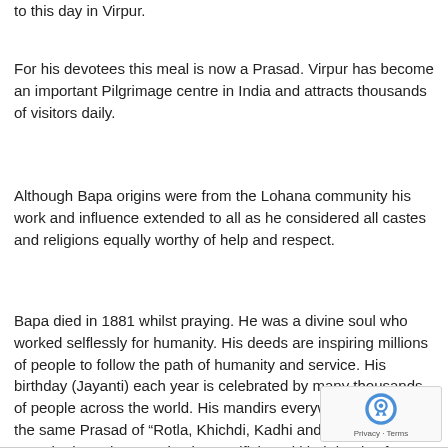to this day in Virpur.
For his devotees this meal is now a Prasad. Virpur has become an important Pilgrimage centre in India and attracts thousands of visitors daily.
Although Bapa origins were from the Lohana community his work and influence extended to all as he considered all castes and religions equally worthy of help and respect.
Bapa died in 1881 whilst praying. He was a divine soul who worked selflessly for humanity. His deeds are inspiring millions of people to follow the path of humanity and service. His birthday (Jayanti) each year is celebrated by many thousands of people across the world. His mandirs everywhere still serve the same Prasad of “Rotla, Khichdi, Kadhi and Shaak” and preach about the completely unselfish and kind deeds of Bapa.
[Figure (logo): reCAPTCHA badge with Privacy and Terms links]